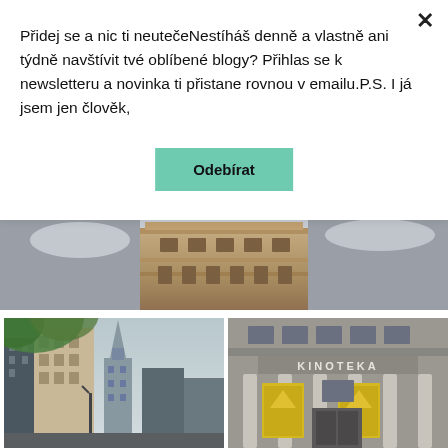Přidej se a nic ti neutečeNestíháš denně a vlastně ani týdně navštívit tvé oblíbené blogy? Přihlas se k newsletteru a novinka ti přistane rovnou v emailu.P.S. I já jsem jen člověk,
Odebírat
[Figure (photo): Top portion of an ornate historic building facade with decorative stonework against a cloudy sky]
[Figure (photo): Warsaw street view with Palace of Culture and Science tower visible between modern buildings, green foliage in foreground]
[Figure (photo): Kinoteka cinema building facade with classical columns and KINOTEKA sign, yellow posters on columns]